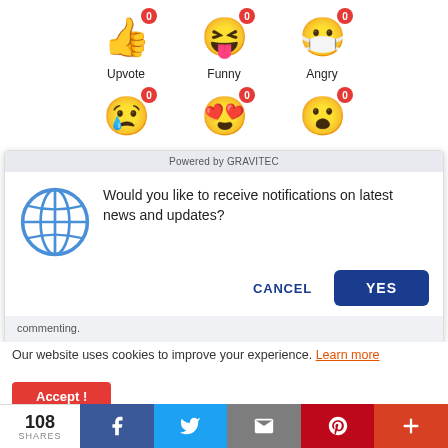[Figure (screenshot): Emoji reaction buttons: Upvote (thumbs up), Funny (laughing face), Angry (angry face with mask), each with red badge showing 0]
[Figure (screenshot): Second row of emoji reactions: Sad (crying face), Love (heart eyes face), Surprised (surprised face), each with red badge showing 0]
[Figure (screenshot): Notification permission popup dialog: 'Powered by GRAVITEC' header, globe icon, text 'Would you like to receive notifications on latest news and updates?', CANCEL and YES buttons]
Our website uses cookies to improve your experience. Learn more
[Figure (screenshot): Bottom share bar with 108 SHARES count, Facebook, Twitter, Email, Pinterest, and More buttons]